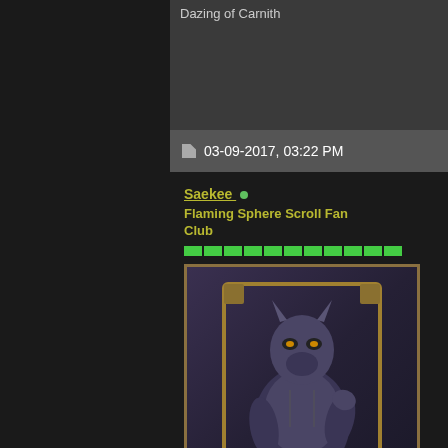Dazing of Carnith
03-09-2017, 03:22 PM
Saekee •
Flaming Sphere Scroll Fan Club
[Figure (photo): User avatar showing an anthropomorphic dragon/alien character in dark armor, with gold ornamental frame border]
Join Date: Aug 2013
Posts: 11,046
If you really want to do this R
1) Run speed--as many stac
2) self-buffing
3) trapping for xp bonus and
possible)
I would recommend an INT b
martial weapons for THF in l
SLA for some speed runs).

edit: good for reaper too--see
Last edited by Saekee; 03-09-201